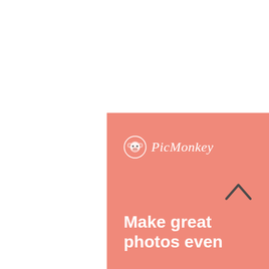[Figure (screenshot): PicMonkey advertisement banner partially visible at bottom of page. Left half shows salmon/coral pink background with PicMonkey logo (monkey icon + cursive text) and headline text 'Make great photos even'. Right half shows a close-up photo of a person's face with dark hair and striking eyes on a grey/blue background, with a white circle overlay element partially visible. A dark upward-pointing chevron arrow is visible to the right of the banner.]